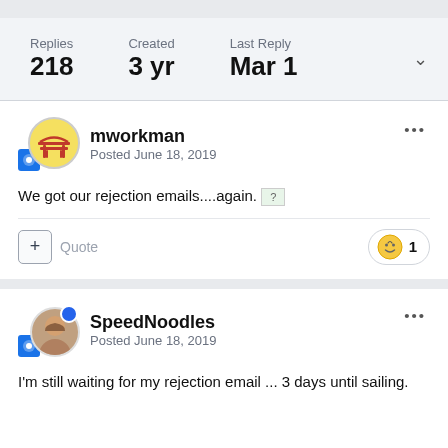Replies 218
Created 3 yr
Last Reply Mar 1
mworkman
Posted June 18, 2019
We got our rejection emails....again. ?
Quote
SpeedNoodles
Posted June 18, 2019
I'm still waiting for my rejection email ... 3 days until sailing.